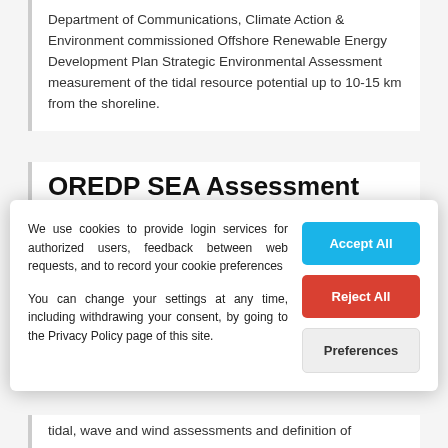Department of Communications, Climate Action & Environment commissioned Offshore Renewable Energy Development Plan Strategic Environmental Assessment measurement of the tidal resource potential up to 10-15 km from the shoreline.
OREDP SEA Assessment Zone
We use cookies to provide login services for authorized users, feedback between web requests, and to record your cookie preferences
You can change your settings at any time, including withdrawing your consent, by going to the Privacy Policy page of this site.
tidal, wave and wind assessments and definition of